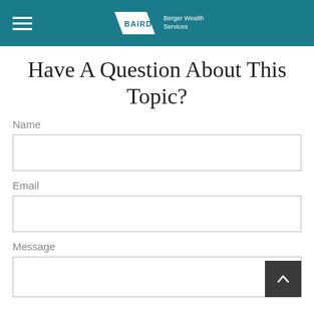BAIRD Berger Wealth Services
Have A Question About This Topic?
Name
Email
Message